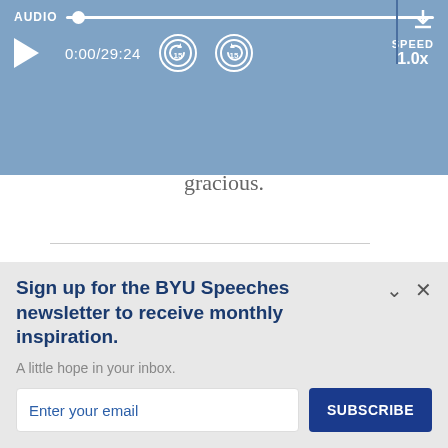[Figure (screenshot): Audio player UI with blue background showing AUDIO label, progress bar, play button, time 0:00/29:24, skip-back and skip-forward 15s buttons, SPEED 1.0x, and a download arrow icon.]
gracious.
Good morning, brothers and sisters. My w and I are greatly honored to be with you
Sign up for the BYU Speeches newsletter to receive monthly inspiration.
A little hope in your inbox.
Enter your email
SUBSCRIBE